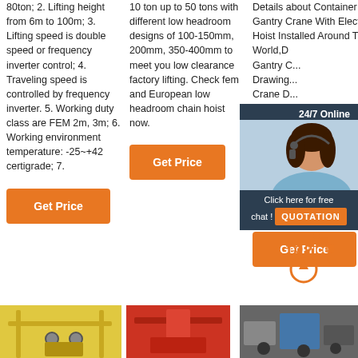80ton; 2. Lifting height from 6m to 100m; 3. Lifting speed is double speed or frequency inverter control; 4. Traveling speed is controlled by frequency inverter. 5. Working duty class are FEM 2m, 3m; 6. Working environment temperature: -25~+42 certigrade; 7.
[Figure (other): Orange 'Get Price' button in column 1]
10 ton up to 50 tons with different low headroom designs of 100-150mm, 200mm, 350-400mm to meet you low clearance factory lifting. Check fem and European low headroom chain hoist now.
[Figure (other): Orange 'Get Price' button in column 2]
Details about Container Gantry Crane With Electric Hoist Installed Around The World,D... Gantry C... Drawing... Crane D... Calculat... Gantry C... Lifting G... Double ... Overhea... from Ch... Supplier... Manufacturer ...
[Figure (other): 24/7 Online chat widget with photo and QUOTATION button]
[Figure (other): Orange 'Get Price' button in column 3]
[Figure (other): TOP arrow icon]
[Figure (photo): Yellow overhead crane product image at bottom left]
[Figure (photo): Red crane/hoist product image at bottom center]
[Figure (photo): Gray/blue crane machinery product image at bottom right]